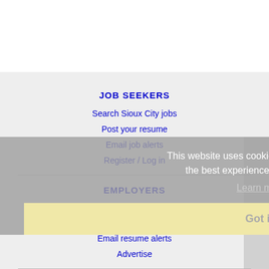JOB SEEKERS
Search Sioux City jobs
Post your resume
Email job alerts
Register / Log in
EMPLOYERS
Post jobs
Search resumes
Email resume alerts
Advertise
This website uses cookies to ensure you get the best experience on our website.
Learn more
Got it!